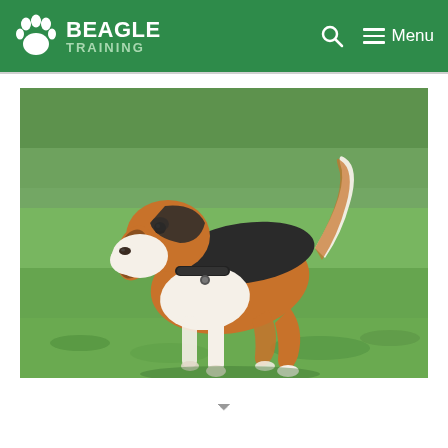BEAGLE TRAINING
[Figure (photo): A beagle dog standing on green grass outdoors, viewed from the side, wearing a dark collar, with its tail raised. The background shows blurred green foliage.]
v